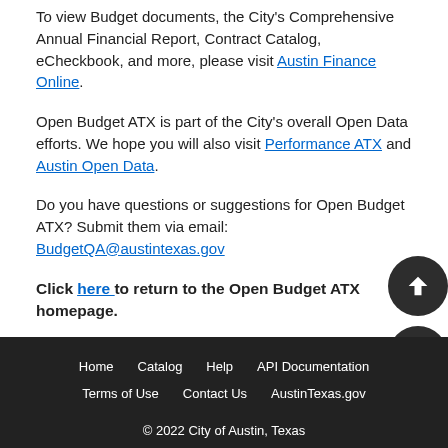To view Budget documents, the City's Comprehensive Annual Financial Report, Contract Catalog, eCheckbook, and more, please visit Austin Finance Online.
Open Budget ATX is part of the City's overall Open Data efforts. We hope you will also visit Performance ATX and Austin Open Data.
Do you have questions or suggestions for Open Budget ATX? Submit them via email: BudgetQA@austintexas.gov
Click here to return to the Open Budget ATX homepage.
[Figure (other): Floating action buttons: scroll-to-top arrow, print icon, and presentation icon on dark circular backgrounds]
Home  Catalog  Help  API Documentation  Terms of Use  Contact Us  AustinTexas.gov  © 2022 City of Austin, Texas